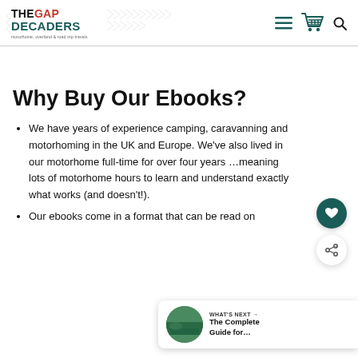THE GAP DECADERS — motorhome, overland & road trip travels
Why Buy Our Ebooks?
We have years of experience camping, caravanning and motorhoming in the UK and Europe. We've also lived in our motorhome full-time for over four years …meaning lots of motorhome hours to learn and understand exactly what works (and doesn't!).
Our ebooks come in a format that can be read on
[Figure (screenshot): What's Next widget showing a thumbnail image and text 'The Complete Guide for...']